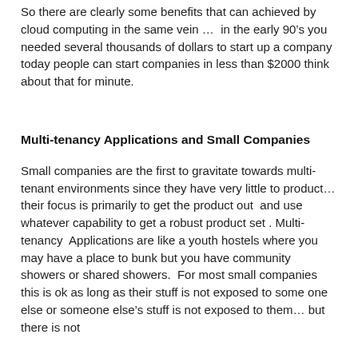So there are clearly some benefits that can achieved by cloud computing in the same vein …  in the early 90's you needed several thousands of dollars to start up a company today people can start companies in less than $2000 think about that for minute.
Multi-tenancy Applications and Small Companies
Small companies are the first to gravitate towards multi-tenant environments since they have very little to product… their focus is primarily to get the product out  and use whatever capability to get a robust product set . Multi-tenancy  Applications are like a youth hostels where you may have a place to bunk but you have community showers or shared showers.  For most small companies this is ok as long as their stuff is not exposed to some one else or someone else's stuff is not exposed to them… but there is not